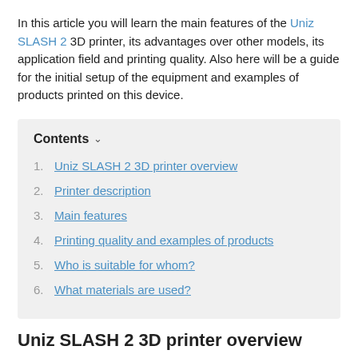In this article you will learn the main features of the Uniz SLASH 2 3D printer, its advantages over other models, its application field and printing quality. Also here will be a guide for the initial setup of the equipment and examples of products printed on this device.
Contents
1. Uniz SLASH 2 3D printer overview
2. Printer description
3. Main features
4. Printing quality and examples of products
5. Who is suitable for whom?
6. What materials are used?
Uniz SLASH 2 3D printer overview